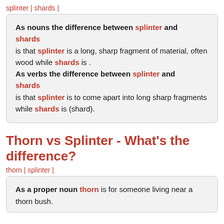splinter | shards |
As nouns the difference between splinter and shards is that splinter is a long, sharp fragment of material, often wood while shards is . As verbs the difference between splinter and shards is that splinter is to come apart into long sharp fragments while shards is (shard).
Thorn vs Splinter - What's the difference?
thorn | splinter |
As a proper noun thorn is for someone living near a thorn bush.